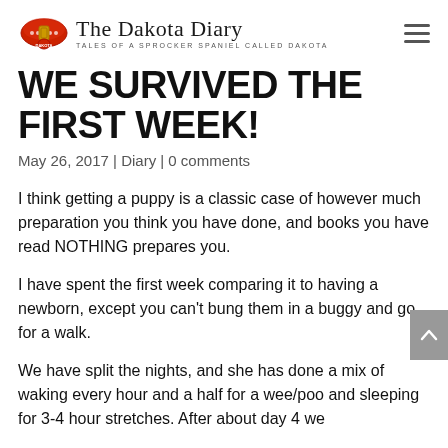The Dakota Diary — Tales of a Sprocker Spaniel called Dakota
WE SURVIVED THE FIRST WEEK!
May 26, 2017 | Diary | 0 comments
I think getting a puppy is a classic case of however much preparation you think you have done, and books you have read NOTHING prepares you.
I have spent the first week comparing it to having a newborn, except you can't bung them in a buggy and go for a walk.
We have split the nights, and she has done a mix of waking every hour and a half for a wee/poo and sleeping for 3-4 hour stretches. After about day 4 we